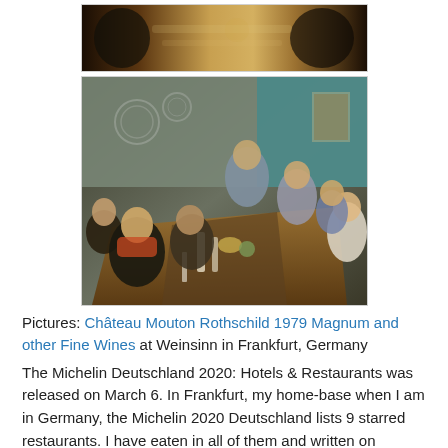[Figure (photo): Top partial photo showing hands at a dining table with dishes, glasses and items on a wooden table surface]
[Figure (photo): Group of people sitting around a long dining table in a restaurant, having dinner. Warm interior lighting, teal wall visible in background. Several people visible on both sides of the table with food, wine bottles and glasses on the table.]
Pictures: Château Mouton Rothschild 1979 Magnum and other Fine Wines at Weinsinn in Frankfurt, Germany
The Michelin Deutschland 2020: Hotels & Restaurants was released on March 6. In Frankfurt, my home-base when I am in Germany, the Michelin 2020 Deutschland lists 9 starred restaurants. I have eaten in all of them and written on schiller-wine about most of them.
There is no restaurant in Frankfurt with 2 Michelin stars